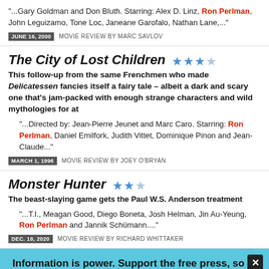"...Gary Goldman and Don Bluth. Starring: Alex D. Linz, Ron Perlman, John Leguizamo, Tone Loc, Janeane Garofalo, Nathan Lane,..."
JUNE 16, 2000  MOVIE REVIEW BY MARC SAVLOV
The City of Lost Children ★★★☆
This follow-up from the same Frenchmen who made Delicatessen fancies itself a fairy tale – albeit a dark and scary one that's jam-packed with enough strange characters and wild mythologies for at
"...Directed by: Jean-Pierre Jeunet and Marc Caro. Starring: Ron Perlman, Daniel Emilfork, Judith Vittet, Dominique Pinon and Jean-Claude..."
MARCH 1, 1996  MOVIE REVIEW BY JOEY O'BRYAN
Monster Hunter ★★☆
The beast-slaying game gets the Paul W.S. Anderson treatment
"...T.I., Meagan Good, Diego Boneta, Josh Helman, Jin Au-Yeung, Ron Perlman and Jannik Schümann...."
DEC. 18, 2020  MOVIE REVIEW BY RICHARD WHITTAKER
Information is power. Support the free press, so we can support Austin.